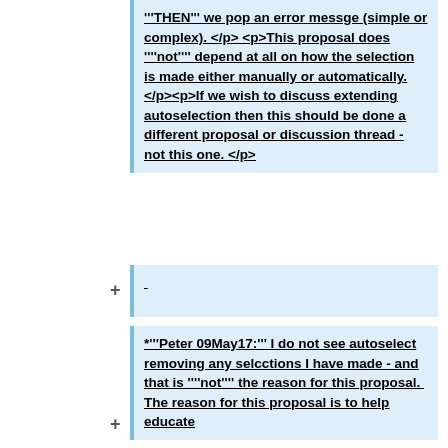'''THEN''' we pop an error messge (simple or complex). </p> <p>This proposal does ''''not'''' depend at all on how the selection is made either manually or automatically. </p><p>If we wish to discuss extending autoselection then this should be done a different proposal or discussion thread - not this one. </p>
*'''Peter 09May17:''' I do not see autoselect removing any selcctions I have made - and that is ''''not'''' the reason for this proposal.  The reason for this proposal is to help educate